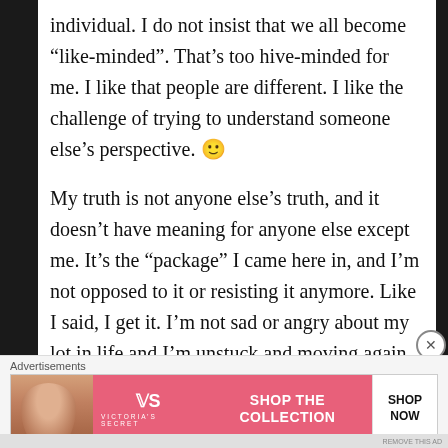individual. I do not insist that we all become “like-minded”. That’s too hive-minded for me. I like that people are different. I like the challenge of trying to understand someone else’s perspective. 🙂
My truth is not anyone else’s truth, and it doesn’t have meaning for anyone else except me. It’s the “package” I came here in, and I’m not opposed to it or resisting it anymore. Like I said, I get it. I’m not sad or angry about my lot in life and I’m unstuck and moving again.
Advertisements
[Figure (other): Victoria's Secret advertisement banner showing a woman with curly hair on a pink background with 'SHOP THE COLLECTION' text and 'SHOP NOW' button]